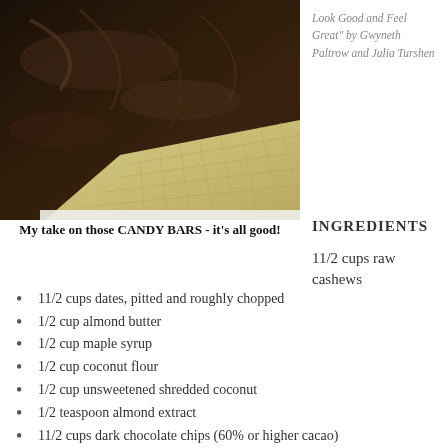[Figure (photo): Close-up photo of dark chocolate bars with a golden/cream colored candy bar or wafer visible beneath, on a dark background]
Look Good and Feel Great" by Gwyneth Paltrow and Julia Turshen
INGREDIENTS
My take on those CANDY BARS - it's all good!
11/2 cups raw cashews
11/2 cups dates, pitted and roughly chopped
1/2 cup almond butter
1/2 cup maple syrup
1/2 cup coconut flour
1/2 cup unsweetened shredded coconut
1/2 teaspoon almond extract
11/2 cups dark chocolate chips (60% or higher cacao)